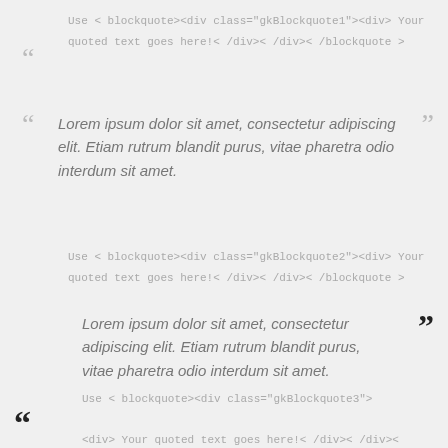Use < blockquote><div class="gkBlockquote1"><div> Your quoted text goes here!< /div>< /div>< /blockquote >
Lorem ipsum dolor sit amet, consectetur adipiscing elit. Etiam rutrum blandit purus, vitae pharetra odio interdum sit amet.
Use < blockquote><div class="gkBlockquote2"><div> Your quoted text goes here!< /div>< /div>< /blockquote >
Lorem ipsum dolor sit amet, consectetur adipiscing elit. Etiam rutrum blandit purus, vitae pharetra odio interdum sit amet.
Use < blockquote><div class="gkBlockquote3">
<div> Your quoted text goes here!< /div>< /div><
/blockquote >